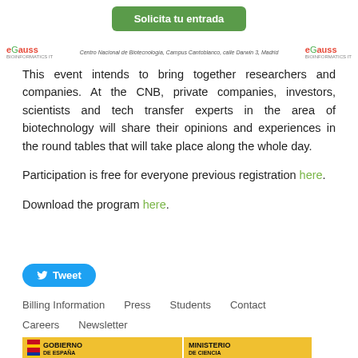[Figure (other): Green button labeled 'Solicita tu entrada']
[Figure (logo): eGauss logos on left and right with Centro Nacional de Biotecnología, Campus Cantoblanco, calle Darwin 3, Madrid text in center]
This event intends to bring together researchers and companies. At the CNB, private companies, investors, scientists and tech transfer experts in the area of biotechnology will share their opinions and experiences in the round tables that will take place along the whole day.
Participation is free for everyone previous registration here.
Download the program here.
[Figure (other): Blue Tweet button with Twitter bird icon]
Billing Information   Press   Students   Contact   Careers   Newsletter
[Figure (logo): Gobierno de España and Ministerio de Ciencia logos on yellow background]